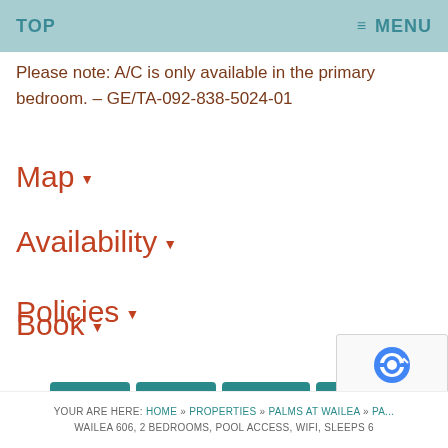TOP  ≡ MENU
Please note: A/C is only available in the primary bedroom. – GE/TA-092-838-5024-01
Map ▾
Availability ▾
Policies ▾
Book ▾
Mail  Share  Tweet  Share
YOUR ARE HERE: HOME » PROPERTIES » PALMS AT WAILEA » PA... WAILEA 606, 2 BEDROOMS, POOL ACCESS, WIFI, SLEEPS 6